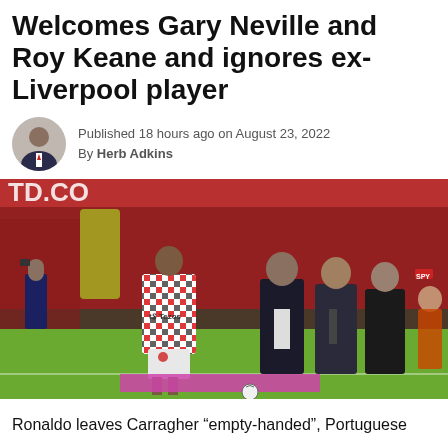Welcomes Gary Neville and Roy Keane and ignores ex-Liverpool player
Published 18 hours ago on August 23, 2022
By Herb Adkins
[Figure (photo): Cristiano Ronaldo in Manchester United checkered training kit (Tezos sponsor) walking on pitch, with suited men including Gary Neville in background, Old Trafford stadium setting]
Ronaldo leaves Carragher "empty-handed", Portuguese